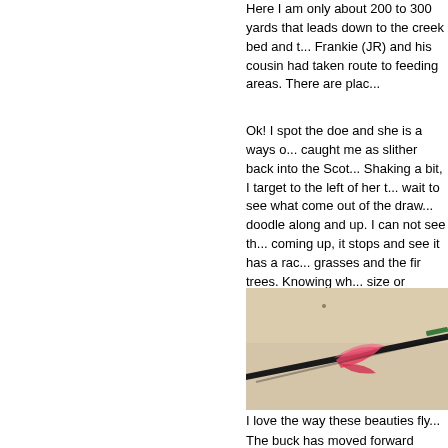Here I am only about 200 to 300 yards that leads down to the creek bed and t... Frankie (JR) and his cousin had taken route to feeding areas.  There are plac...
Ok!  I spot the doe and she is a ways o... caught me as slither back into the Scot... Shaking a bit, I target to the left of her t... wait to see what come out of the draw... doodle along and up.   I can not see th... coming up, it stops and see it has a rac... grasses and the fir trees.   Knowing wh... size or distance my eyes as they are lo... above the back bone.  The release is w... Zeon Fusion (pink) vanes are evident i...
[Figure (photo): A dark arrow shaft with pink/red Zeon Fusion vanes lying on a light fabric or cloth surface. The fletching (vanes) are pink/red and a green element is visible near the nock end.]
I love the way these beauties fly...
The buck has moved forward during th... hit the hind quarter forward.  What surp... Wow!  Then to my further surprise the b... 100 yards there is a monster buck faci...